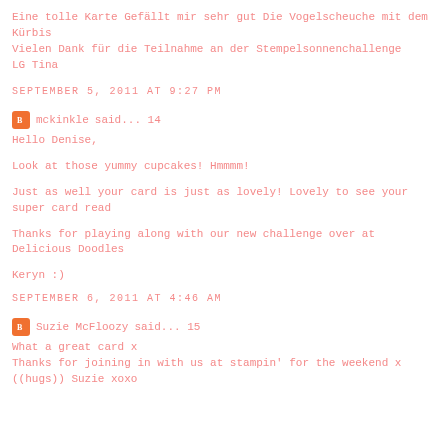Eine tolle Karte Gefällt mir sehr gut Die Vogelscheuche mit dem Kürbis Vielen Dank für die Teilnahme an der Stempelsonnenchallenge LG Tina
SEPTEMBER 5, 2011 AT 9:27 PM
mckinkle said... 14
Hello Denise.
Look at those yummy cupcakes! Hmmmm!
Just as well your card is just as lovely! Lovely to see your super card read
Thanks for playing along with our new challenge over at Delicious Doodles
Keryn :)
SEPTEMBER 6, 2011 AT 4:46 AM
Suzie McFloozy said... 15
What a great card x
Thanks for joining in with us at stampin' for the weekend x
((hugs)) Suzie xoxo